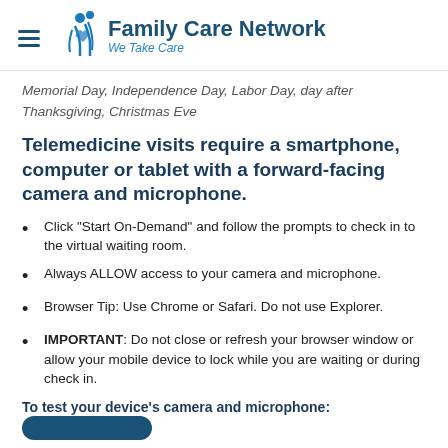Family Care Network — We Take Care
Memorial Day, Independence Day, Labor Day, day after Thanksgiving, Christmas Eve
Telemedicine visits require a smartphone, computer or tablet with a forward-facing camera and microphone.
Click "Start On-Demand" and follow the prompts to check in to the virtual waiting room.
Always ALLOW access to your camera and microphone.
Browser Tip: Use Chrome or Safari. Do not use Explorer.
IMPORTANT: Do not close or refresh your browser window or allow your mobile device to lock while you are waiting or during check in.
To test your device's camera and microphone: